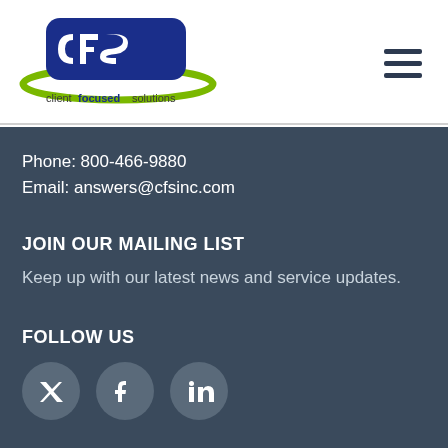[Figure (logo): CFS - Client Focused Solutions logo with blue CFS text and green swoosh, tagline 'client focused solutions']
Phone: 800-466-9880
Email: answers@cfsinc.com
JOIN OUR MAILING LIST
Keep up with our latest news and service updates.
FOLLOW US
[Figure (illustration): Three circular social media icons (Twitter/X, Facebook, LinkedIn) at the bottom]